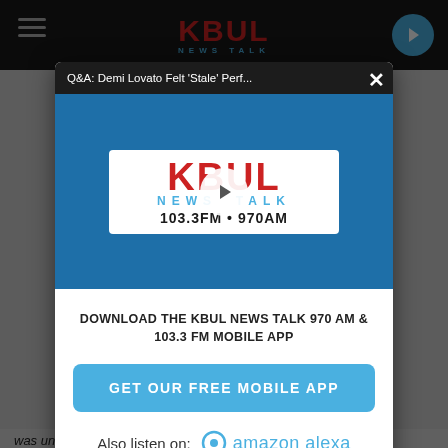[Figure (screenshot): KBUL News Talk 103.3FM 970AM website screenshot with modal popup dialog overlay]
Q&A: Demi Lovato Felt 'Stale' Perf...
[Figure (logo): KBUL News Talk 103.3FM 970AM logo with play button]
DOWNLOAD THE KBUL NEWS TALK 970 AM & 103.3 FM MOBILE APP
GET OUR FREE MOBILE APP
Also listen on:  amazon alexa
was unconstitutional. I do not believe the Senate